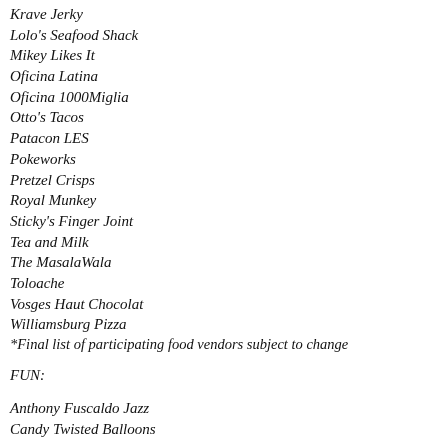Krave Jerky
Lolo's Seafood Shack
Mikey Likes It
Oficina Latina
Oficina 1000Miglia
Otto's Tacos
Patacon LES
Pokeworks
Pretzel Crisps
Royal Munkey
Sticky's Finger Joint
Tea and Milk
The MasalaWala
Toloache
Vosges Haut Chocolat
Williamsburg Pizza
*Final list of participating food vendors subject to change
FUN:
Anthony Fuscaldo Jazz
Candy Twisted Balloons